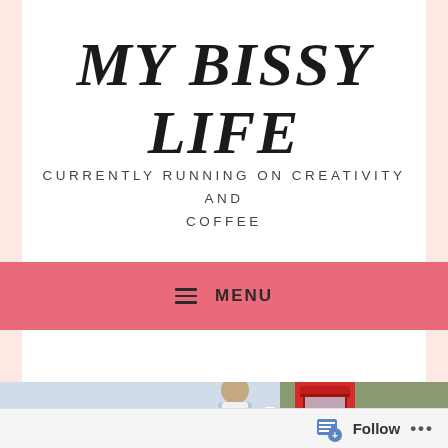MY BISSY LIFE
CURRENTLY RUNNING ON CREATIVITY AND COFFEE
≡  MENU
[Figure (photo): Woman holding a red cup standing near a red British phone box on a street in London]
Follow ...